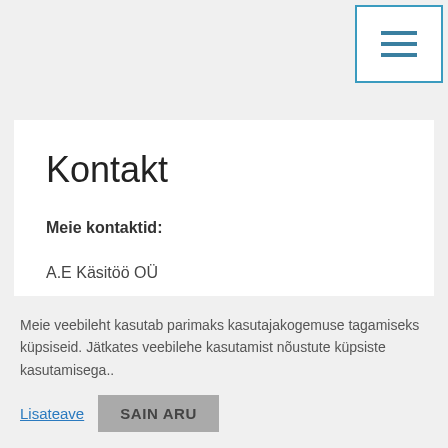[Figure (other): Hamburger menu button with three horizontal lines, blue border]
Kontakt
Meie kontaktid:
A.E Käsitöö OÜ
Looga tee 9-5, Jõõpre küla
Pärnumaa 88303
Meie veebileht kasutab parimaks kasutajakogemuse tagamiseks küpsiseid. Jätkates veebilehe kasutamist nõustute küpsiste kasutamisega..
Lisateave
SAIN ARU